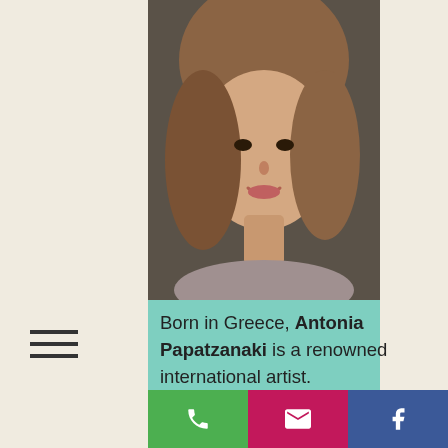[Figure (photo): Portrait photo of Antonia Papatzanaki, a woman with medium-length auburn/brown hair, smiling, visible from shoulders up against a dark background]
Born in Greece, Antonia Papatzanaki is a renowned international artist. Papatzanaki was educated in Athens School of Fine Arts (G. Nikolaidi's Workshop), in the Vienna Hochschule für Angenwandte Kunst (W. Bertoni's Workshop), and Pratt Institute in New York, where she acquired her Master's degree in fine